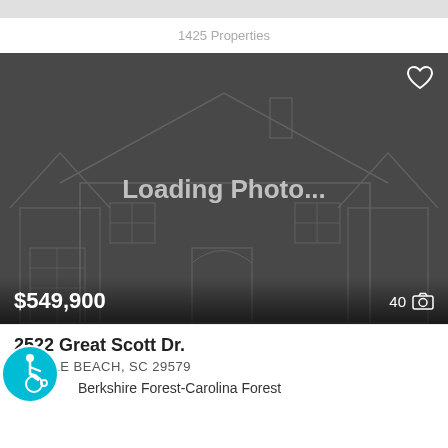1425 Properties
[Figure (screenshot): Real estate listing card showing a dark placeholder image with house outline silhouette and text 'Loading Photo...' in the center. Price $549,900 shown at bottom left, photo count '40' with camera icon at bottom right. Heart/favorite icon at top right.]
2522 Great Scott Dr.
MYRTLE BEACH, SC 29579
[Figure (illustration): Accessibility icon — blue circular badge with wheelchair user symbol]
Berkshire Forest-Carolina Forest